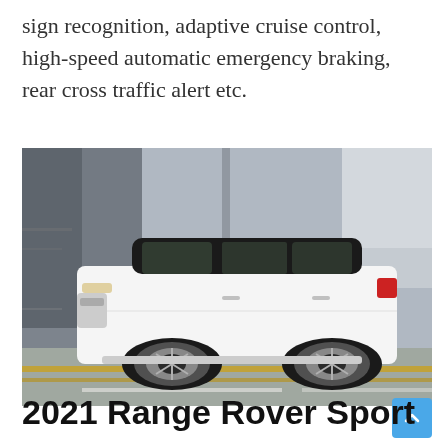sign recognition, adaptive cruise control, high-speed automatic emergency braking, rear cross traffic alert etc.
[Figure (photo): White Range Rover Sport SUV driving on a city street, side profile view, motion blur background showing urban buildings]
2021 Range Rover Sport